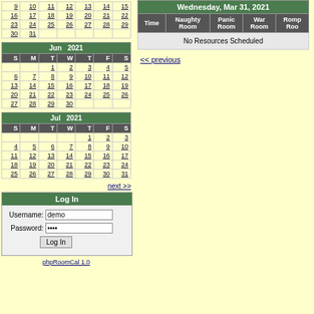| S | M | T | W | T | F | S |
| --- | --- | --- | --- | --- | --- | --- |
|  |  |  |  |  |  |  |
| 9 | 10 | 11 | 12 | 13 | 14 | 15 |
| 16 | 17 | 18 | 19 | 20 | 21 | 22 |
| 23 | 24 | 25 | 26 | 27 | 28 | 29 |
| 30 | 31 |  |  |  |  |  |
| Jun 2021 |
| --- |
| S | M | T | W | T | F | S |
|  |  | 1 | 2 | 3 | 4 | 5 |
| 6 | 7 | 8 | 9 | 10 | 11 | 12 |
| 13 | 14 | 15 | 16 | 17 | 18 | 19 |
| 20 | 21 | 22 | 23 | 24 | 25 | 26 |
| 27 | 28 | 29 | 30 |  |  |  |
| Jul 2021 |
| --- |
| S | M | T | W | T | F | S |
|  |  |  |  | 1 | 2 | 3 |
| 4 | 5 | 6 | 7 | 8 | 9 | 10 |
| 11 | 12 | 13 | 14 | 15 | 16 | 17 |
| 18 | 19 | 20 | 21 | 22 | 23 | 24 |
| 25 | 26 | 27 | 28 | 29 | 30 | 31 |
next >>
| Log In |
| --- |
| Username: | demo |
| Password: | •••• |
phpRoomCal 1.0
| Wednesday, Mar 31, 2021 | Time | Naughty Room | Panic Room | War Room | Romp Room |
| --- | --- | --- | --- | --- | --- |
| No Resources Scheduled |
<< previous